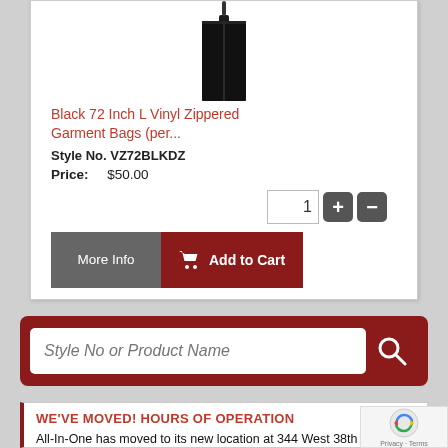[Figure (photo): Black vinyl zippered garment bag product image, black bag on white background]
Black 72 Inch L Vinyl Zippered Garment Bags (per...
Style No. VZ72BLKDZ
Price:    $50.00
More Info | Add to Cart
Style No or Product Name
WE'VE MOVED! HOURS OF OPERATION
All-In-One has moved to its new location at 344 West 38th Stre... While we've made considerable progress, we're not fully settled yet.